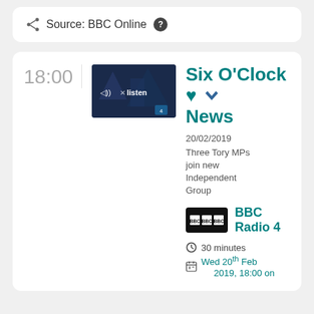Source: BBC Online
18:00
[Figure (screenshot): Thumbnail image of Six O'Clock News program with a listen button overlay]
Six O'Clock News
20/02/2019 Three Tory MPs join new Independent Group
[Figure (logo): BBC Radio 4 logo on black background]
BBC Radio 4
30 minutes
Wed 20th Feb 2019, 18:00 on